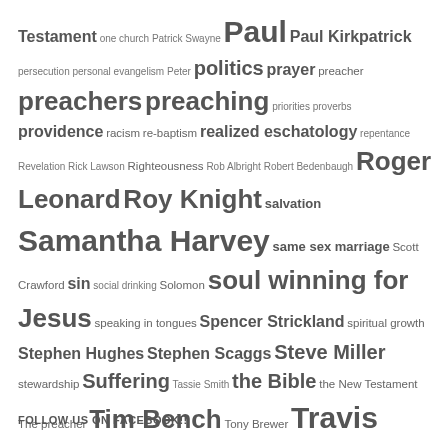Testament one church Patrick Swayne Paul Paul Kirkpatrick persecution personal evangelism Peter politics prayer preacher preachers preaching priorities proverbs providence racism re-baptism realized eschatology repentance Revelation Rick Lawson Righteousness Rob Albright Robert Bedenbaugh Roger Leonard Roy Knight salvation Samantha Harvey same sex marriage Scott Crawford sin social drinking Solomon soul winning for Jesus speaking in tongues Spencer Strickland spiritual growth Stephen Hughes Stephen Scaggs Steve Miller stewardship Suffering Tassie Smith the Bible the New Testament The preacher Tim Bench Tony Brewer Travis Main truth unity Victor M. Eskew Will Hester women's role in the church women of the Bible worship
FOLLOW US ON FACEBOOK!!